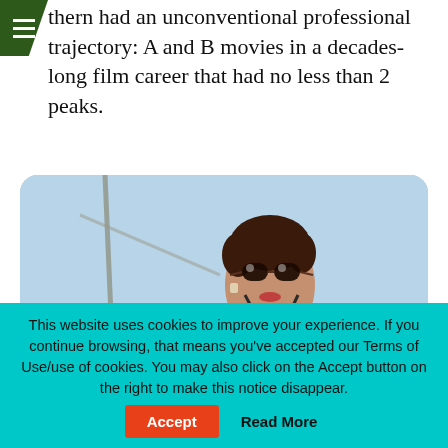☰
thern had an unconventional professional trajectory: A and B movies in a decades-long film career that had no less than 2 peaks.
[Figure (photo): A woman with short dark hair wearing large sunglasses and a dark bikini top, photographed outdoors near water, appearing to be a vintage/retro film still.]
This website uses cookies to improve your experience. If you continue browsing, that means you've accepted our Terms of Use/use of cookies. You may also click on the Accept button on the right to make this notice disappear.